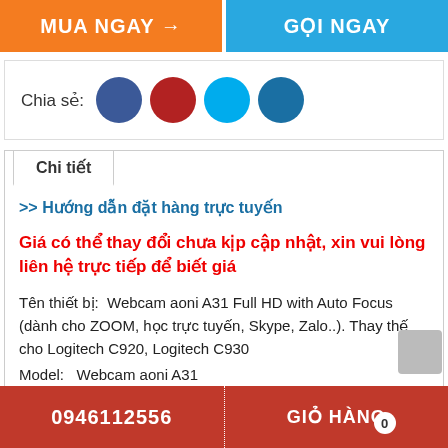MUA NGAY →
GỌI NGAY
Chia sẻ:
[Figure (other): Four colored circles representing social share buttons: dark blue, dark red, light blue, medium blue]
Chi tiết
>> Hướng dẫn đặt hàng trực tuyến
Giá có thể thay đổi chưa kịp cập nhật, xin vui lòng liên hệ trực tiếp để biết giá
Tên thiết bị:  Webcam aoni A31 Full HD with Auto Focus (dành cho ZOOM, học trực tuyến, Skype, Zalo..). Thay thế cho Logitech C920, Logitech C930
Model:   Webcam aoni A31
Thương hiệu:  aoni
0946112556   GIỎ HÀNG